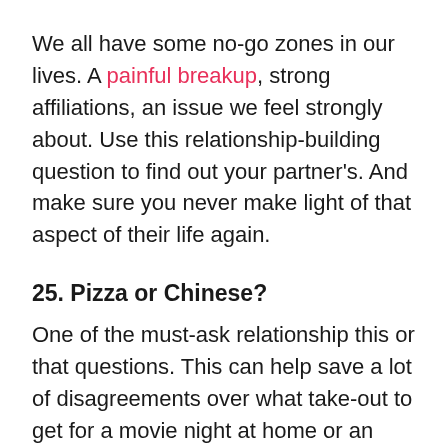We all have some no-go zones in our lives. A painful breakup, strong affiliations, an issue we feel strongly about. Use this relationship-building question to find out your partner's. And make sure you never make light of that aspect of their life again.
25. Pizza or Chinese?
One of the must-ask relationship this or that questions. This can help save a lot of disagreements over what take-out to get for a movie night at home or an evening where you feel too lazy to cook. It can seem trivial in comparison to other, more serious questions